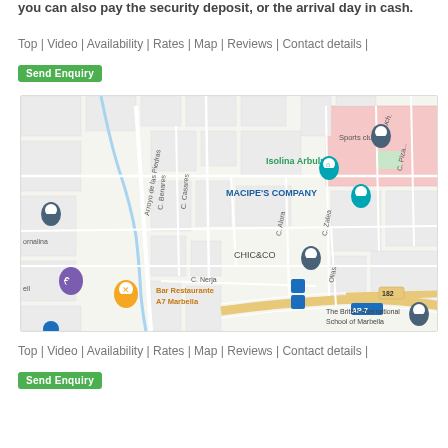you can also pay the security deposit, or the arrival day in cash.
Top | Video | Availability | Rates | Map | Reviews | Contact details |
Send Enquiry
[Figure (map): Google Maps view showing area around Marbella, Spain with landmarks including Isolina Arbulu, MACIPE'S COMPANY, CHIC&CO, Bar Restaurante A7 Marbella, The British International School of Marbella, Sports club. Streets include Arroyo de las Piedras, C. Benares, C. Casares, C. Alora, C. Zalea, C. Pizarro, C. Nerja, Olias, Av. Buch. Road AP-7 and highway 182 visible.]
Top | Video | Availability | Rates | Map | Reviews | Contact details |
Send Enquiry